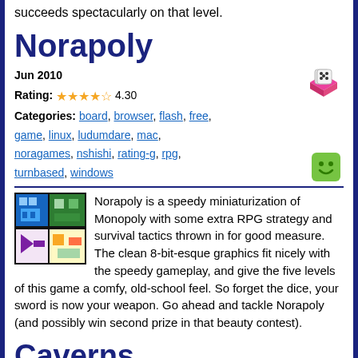succeeds spectacularly on that level.
Norapoly
Jun 2010
Rating: ★★★★☆ 4.30
Categories: board, browser, flash, free, game, linux, ludumdare, mac, noragames, nshishi, rating-g, rpg, turnbased, windows
[Figure (illustration): Pixel art thumbnail image for Norapoly game]
Norapoly is a speedy miniaturization of Monopoly with some extra RPG strategy and survival tactics thrown in for good measure. The clean 8-bit-esque graphics fit nicely with the speedy gameplay, and give the five levels of this game a comfy, old-school feel. So forget the dice, your sword is now your weapon. Go ahead and tackle Norapoly (and possibly win second prize in that beauty contest).
Caverns
Sep 2009